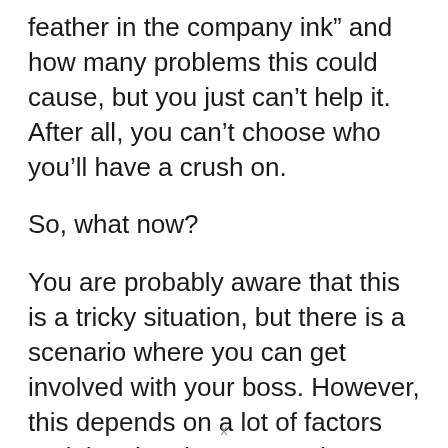feather in the company ink” and how many problems this could cause, but you just can’t help it. After all, you can’t choose who you’ll have a crush on.
So, what now?
You are probably aware that this is a tricky situation, but there is a scenario where you can get involved with your boss. However, this depends on a lot of factors and the situation you are in.
There are many things you need to think about